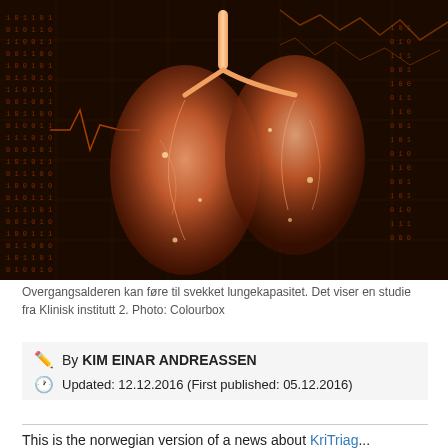[Figure (photo): A glowing orange medical illustration of human lungs against a dark background with binary code and financial chart overlays]
Overgangsalderen kan føre til svekket lungekapasitet. Det viser en studie fra Klinisk institutt 2. Photo: Colourbox
By KIM EINAR ANDREASSEN
Updated: 12.12.2016 (First published: 05.12.2016)
This is the norwegian version of a news about KriTriage...